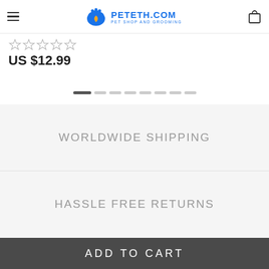PETETH.COM — PET SHOP AND GROOMING
☆☆☆☆☆
US $12.99
[Figure (other): Horizontal pagination dots — one dark active dot followed by seven lighter inactive dots]
WORLDWIDE SHIPPING
HASSLE FREE RETURNS
ADD TO CART